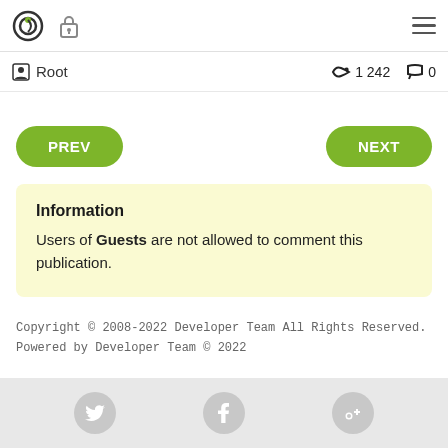Root  1 242  0
PREV   NEXT
Information
Users of Guests are not allowed to comment this publication.
Copyright © 2008-2022 Developer Team All Rights Reserved.
Powered by Developer Team © 2022